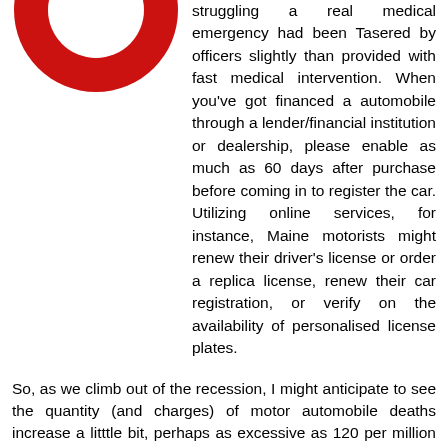[Figure (logo): Partial red circular logo/icon visible at top left, resembling a red circle with an opening at the bottom]
struggling a real medical emergency had been Tasered by officers slightly than provided with fast medical intervention. When you've got financed a automobile through a lender/financial institution or dealership, please enable as much as 60 days after purchase before coming in to register the car. Utilizing online services, for instance, Maine motorists might renew their driver's license or order a replica license, renew their car registration, or verify on the availability of personalised license plates.
So, as we climb out of the recession, I might anticipate to see the quantity (and charges) of motor automobile deaths increase a litttle bit, perhaps as excessive as 120 per million residents per 12 months or 12 per billion miles traveled, and then continue the long sluggish decline.
[Figure (illustration): Small image icon labeled Motor Vehicle at the bottom center of the page]